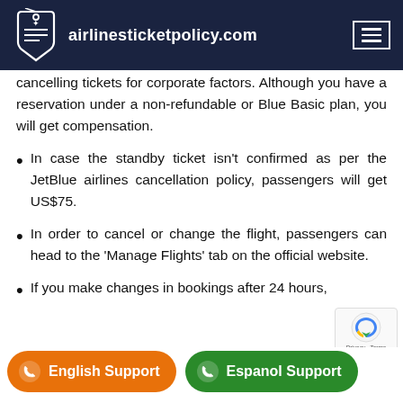airlinesticketpolicy.com
cancelling tickets for corporate factors. Although you have a reservation under a non-refundable or Blue Basic plan, you will get compensation.
In case the standby ticket isn't confirmed as per the JetBlue airlines cancellation policy, passengers will get US$75.
In order to cancel or change the flight, passengers can head to the 'Manage Flights' tab on the official website.
If you make changes in bookings after 24 hours,
English Support | Espanol Support